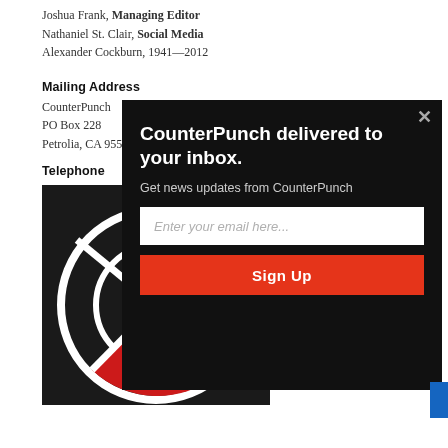Joshua Frank, Managing Editor
Nathaniel St. Clair, Social Media
Alexander Cockburn, 1941—2012
Mailing Address
CounterPunch
PO Box 228
Petrolia, CA 95558
Telephone
Nichole Stephens, Administrative Assistant
1(707) 629-3683
[Figure (logo): CounterPunch logo graphic (black and red circular design) with JOIN text to the right]
[Figure (screenshot): Modal popup: 'CounterPunch delivered to your inbox.' with email input field and Sign Up button on dark background]